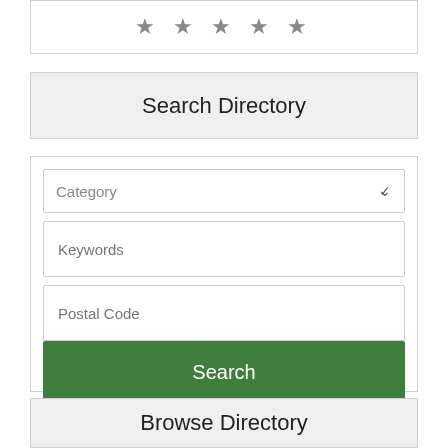[Figure (other): Five gray stars rating display in a bordered white box]
Search Directory
[Figure (screenshot): Search form with Category dropdown, Keywords text field, Postal Code text field, green Search button, and Advanced Search link]
Browse Directory